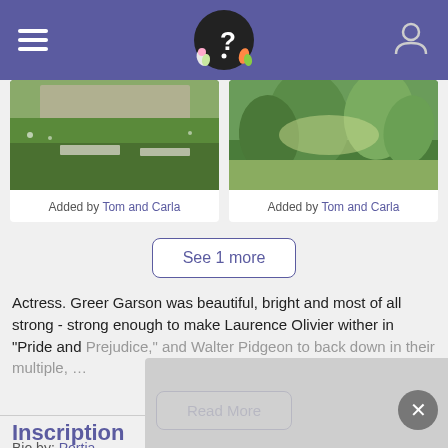[Figure (photo): Cemetery grave site photo with stone and green grass, left image]
Added by Tom and Carla
[Figure (photo): Cemetery grave site with green shrubs and ferns, right image]
Added by Tom and Carla
See 1 more
Actress. Greer Garson was beautiful, bright and most of all strong - strong enough to make Laurence Olivier wither in "Pride and Prejudice," and Walter Pidgeon to back down in their multiple, ...
Read More
Bio by: Portia
Inscription